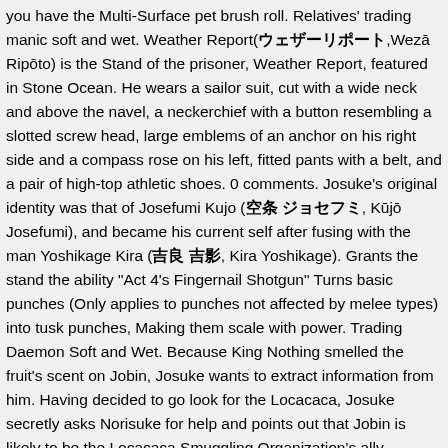you have the Multi-Surface pet brush roll. Relatives' trading manic soft and wet. Weather Report(ウェザーリポート,Wezā Ripōto) is the Stand of the prisoner, Weather Report, featured in Stone Ocean. He wears a sailor suit, cut with a wide neck and above the navel, a neckerchief with a button resembling a slotted screw head, large emblems of an anchor on his right side and a compass rose on his left, fitted pants with a belt, and a pair of high-top athletic shoes. 0 comments. Josuke's original identity was that of Josefumi Kujo (空条 ジョセフミ, Kūjō Josefumi), and became his current self after fusing with the man Yoshikage Kira (吉良 吉影, Kira Yoshikage). Grants the stand the ability "Act 4's Fingernail Shotgun" Turns basic punches (Only applies to punches not affected by melee types) into tusk punches, Making them scale with power. Trading Daemon Soft and Wet. Because King Nothing smelled the fruit's scent on Jobin, Josuke wants to extract information from him. Having decided to go look for the Locacaca, Josuke secretly asks Norisuke for help and points out that Jobin is likely to be the Locacaca Smuggling Organization's ally. Yasuho reluctantly tags